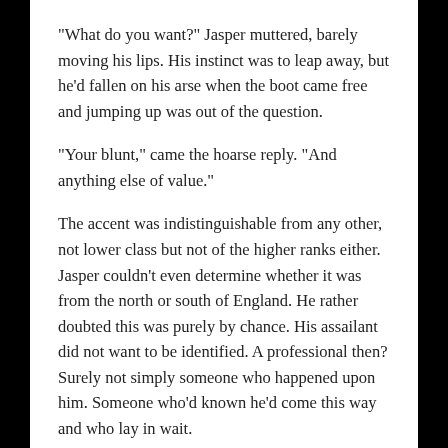"What do you want?" Jasper muttered, barely moving his lips. His instinct was to leap away, but he'd fallen on his arse when the boot came free and jumping up was out of the question.
"Your blunt," came the hoarse reply. "And anything else of value."
The accent was indistinguishable from any other, not lower class but not of the higher ranks either. Jasper couldn't even determine whether it was from the north or south of England. He rather doubted this was purely by chance. His assailant did not want to be identified. A professional then? Surely not simply someone who happened upon him. Someone who'd known he'd come this way and who lay in wait.
"I have a wallet in my coat pocket," Jasper answered.